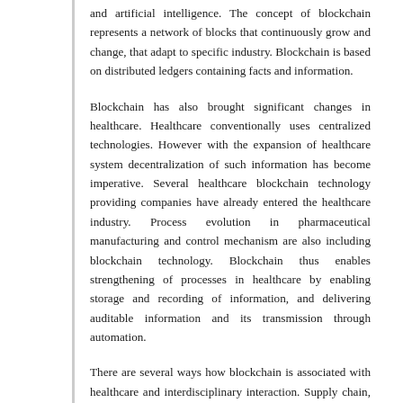and artificial intelligence. The concept of blockchain represents a network of blocks that continuously grow and change, that adapt to specific industry. Blockchain is based on distributed ledgers containing facts and information.
Blockchain has also brought significant changes in healthcare. Healthcare conventionally uses centralized technologies. However with the expansion of healthcare system decentralization of such information has become imperative. Several healthcare blockchain technology providing companies have already entered the healthcare industry. Process evolution in pharmaceutical manufacturing and control mechanism are also including blockchain technology. Blockchain thus enables strengthening of processes in healthcare by enabling storage and recording of information, and delivering auditable information and its transmission through automation.
There are several ways how blockchain is associated with healthcare and interdisciplinary interaction. Supply chain, claim settlement and information transmission are some of the most prominent areas where blockchain technology is increasingly